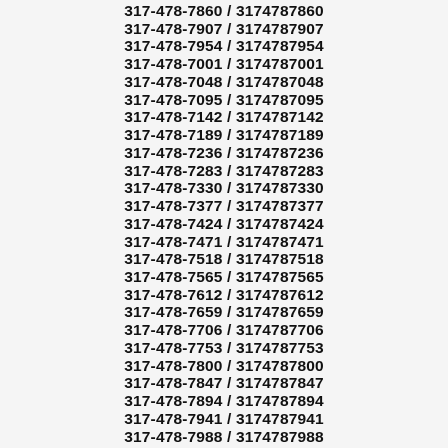317-478-7860 / 3174787860
317-478-7907 / 3174787907
317-478-7954 / 3174787954
317-478-7001 / 3174787001
317-478-7048 / 3174787048
317-478-7095 / 3174787095
317-478-7142 / 3174787142
317-478-7189 / 3174787189
317-478-7236 / 3174787236
317-478-7283 / 3174787283
317-478-7330 / 3174787330
317-478-7377 / 3174787377
317-478-7424 / 3174787424
317-478-7471 / 3174787471
317-478-7518 / 3174787518
317-478-7565 / 3174787565
317-478-7612 / 3174787612
317-478-7659 / 3174787659
317-478-7706 / 3174787706
317-478-7753 / 3174787753
317-478-7800 / 3174787800
317-478-7847 / 3174787847
317-478-7894 / 3174787894
317-478-7941 / 3174787941
317-478-7988 / 3174787988
317-478-7035 / 3174787035
317-478-7082 / 3174787082
317-478-7129 / 3174787129
317-478-7176 / 3174787176